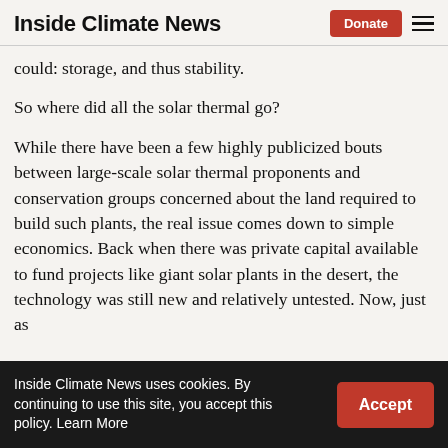Inside Climate News | Donate
could: storage, and thus stability.
So where did all the solar thermal go?
While there have been a few highly publicized bouts between large-scale solar thermal proponents and conservation groups concerned about the land required to build such plants, the real issue comes down to simple economics. Back when there was private capital available to fund projects like giant solar plants in the desert, the technology was still new and relatively untested. Now, just as the technology has...
Inside Climate News uses cookies. By continuing to use this site, you accept this policy. Learn More